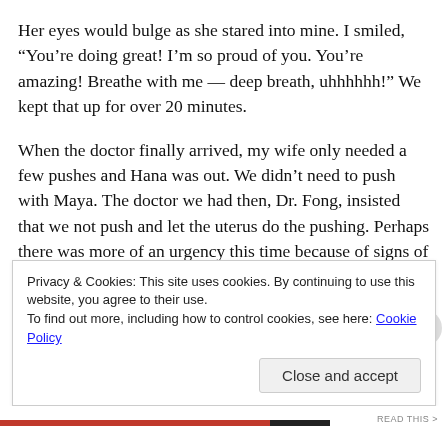Her eyes would bulge as she stared into mine.  I smiled, “You’re doing great!  I’m so proud of you.  You’re amazing!  Breathe with me — deep breath, uhhhhhh!”  We kept that up for over 20 minutes.
When the doctor finally arrived, my wife only needed a few pushes and Hana was out.  We didn’t need to push with Maya.  The doctor we had then, Dr. Fong, insisted that we not push and let the uterus do the pushing.  Perhaps there was more of an urgency this time because of signs of fetal distress.  The pushing caused a bit of tearing.  Hana was also bigger than Maya at birth: 7lbs, 6oz compared to 5lbs, 3oz.
Privacy & Cookies: This site uses cookies. By continuing to use this website, you agree to their use.
To find out more, including how to control cookies, see here: Cookie Policy